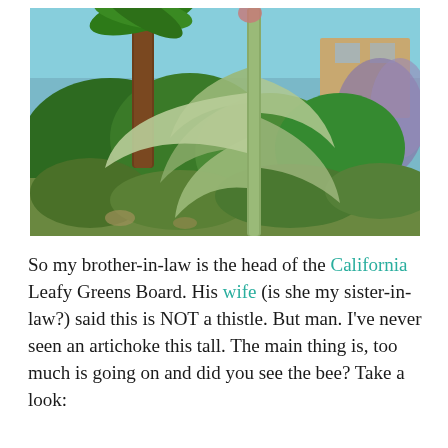[Figure (photo): Outdoor garden photo showing a tall artichoke plant stalk in the foreground with large silvery-green leaves, surrounded by lush green garden plants and shrubs, a palm tree trunk visible in the background left, blue sky, and a building visible upper right.]
So my brother-in-law is the head of the California Leafy Greens Board. His wife (is she my sister-in-law?) said this is NOT a thistle. But man. I've never seen an artichoke this tall. The main thing is, too much is going on and did you see the bee? Take a look: